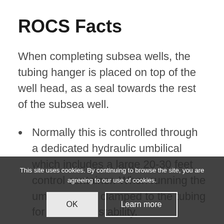ROCS Facts
When completing subsea wells, the tubing hanger is placed on top of the well head, as a seal towards the rest of the subsea well.
Normally this is controlled through a dedicated hydraulic umbilical which includes a large 20-30 feet control container. When running the umbilical, it is clamped to the tubing for increased stability.
ROCS removes the operation by...
This site uses cookies. By continuing to browse the site, you are agreeing to our use of cookies.